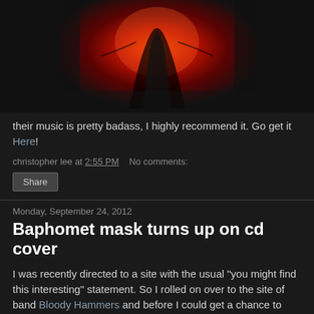[Figure (photo): Red-lit silhouette photo with dark background, figure posed against bright red light]
their music is pretty badass, I highly recommend it. Go get it Here!
christopher lee at 2:55 PM   No comments:
Share
Monday, September 24, 2012
Baphomet mask turns up on cd cover
I was recently directed to a site with the usual "you might find this interesting" statement. So I rolled on over to the site of band Bloody Hammers and before I could get a chance to